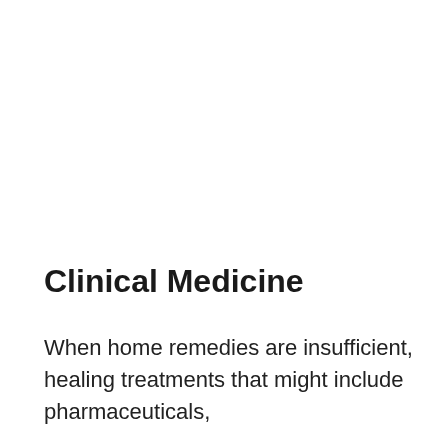Clinical Medicine
When home remedies are insufficient, healing treatments that might include pharmaceuticals,